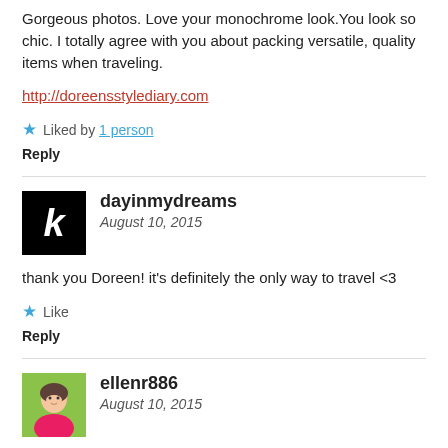Gorgeous photos. Love your monochrome look.You look so chic. I totally agree with you about packing versatile, quality items when traveling.
http://doreensstylediary.com
★ Liked by 1 person
Reply
dayinmydreams
August 10, 2015
thank you Doreen! it's definitely the only way to travel <3
★ Like
Reply
ellenr886
August 10, 2015